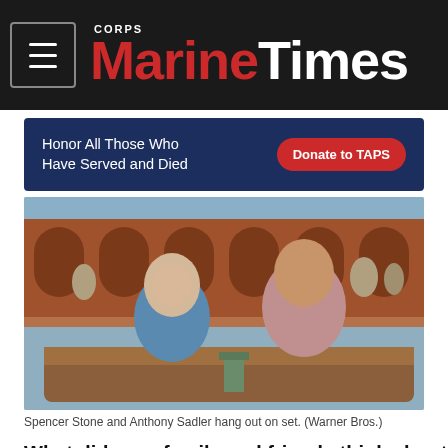Marine Corps Times
[Figure (photo): Advertisement banner: 'Honor All Those Who Have Served and Died' with a 'Donate to TAPS' button on dark blue background]
[Figure (photo): Spencer Stone and Anthony Sadler hang out on set, two men sitting on a boat in Venice with arched buildings in the background. (Warner Bros.)]
Spencer Stone and Anthony Sadler hang out on set. (Warner Bros.)
What did your family and friends think about this?
[Figure (screenshot): Advertisement banner with repeating circular logo pattern on grey background]